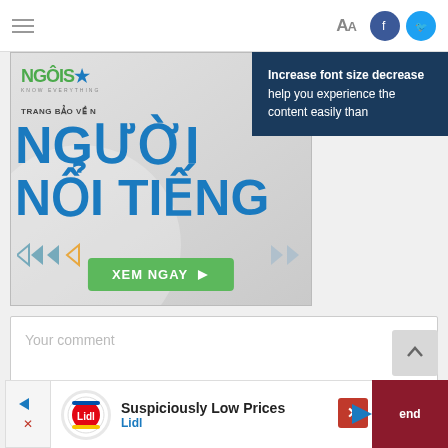[Figure (screenshot): Website navigation bar with hamburger menu, font size Aa button, Facebook and Twitter social icons]
[Figure (screenshot): Tooltip popup with dark blue background saying 'Increase font size decrease help you experience the content easily than']
[Figure (advertisement): Vietnamese advertisement banner for NgoisaoNet featuring 'NGUOI NOI TIENG' text and 'XEM NGAY' green button]
Your comment
[Figure (advertisement): Lidl advertisement banner with 'Suspiciously Low Prices' headline and Lidl brand name]